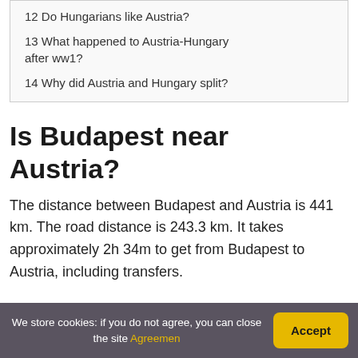12 Do Hungarians like Austria?
13 What happened to Austria-Hungary after ww1?
14 Why did Austria and Hungary split?
Is Budapest near Austria?
The distance between Budapest and Austria is 441 km. The road distance is 243.3 km. It takes approximately 2h 34m to get from Budapest to Austria, including transfers.
We store cookies: if you do not agree, you can close the site Agreement Accept